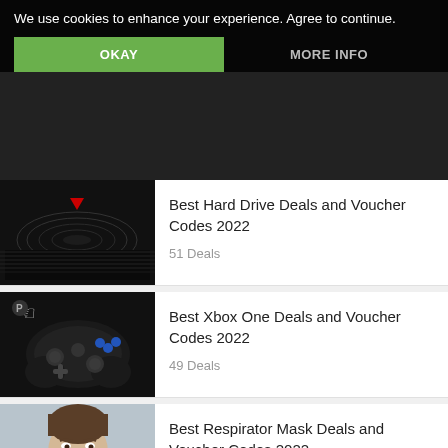We use cookies to enhance your experience. Agree to continue.
OKAY
MORE INFO
[Figure (photo): Dark photo of a concert hall/stadium with dramatic lighting and red overhead lights]
Best Hard Drive Deals and Voucher Codes 2022
51 Deals
[Figure (photo): PlayStation controller on a dark background with blue accent buttons]
Best Xbox One Deals and Voucher Codes 2022
49 Deals
[Figure (photo): Young man putting on a white respirator face mask against a grey background]
Best Respirator Mask Deals and Voucher Codes 2022
69 Deals